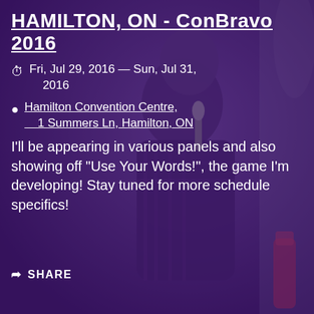[Figure (photo): Background photo of a bald man holding a microphone on stage, with purple/blue color overlay.]
HAMILTON, ON - ConBravo 2016
Fri, Jul 29, 2016 — Sun, Jul 31, 2016
Hamilton Convention Centre, 1 Summers Ln, Hamilton, ON
I'll be appearing in various panels and also showing off "Use Your Words!", the game I'm developing! Stay tuned for more schedule specifics!
SHARE